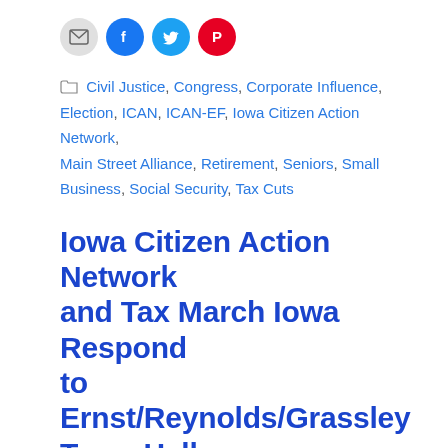[Figure (infographic): Social sharing icons: email (grey), Facebook (blue), Twitter (light blue), Pinterest (red)]
Civil Justice, Congress, Corporate Influence, Election, ICAN, ICAN-EF, Iowa Citizen Action Network, Main Street Alliance, Retirement, Seniors, Small Business, Social Security, Tax Cuts
Iowa Citizen Action Network and Tax March Iowa Respond to Ernst/Reynolds/Grassley Town Hall
June 30, 2020 by SDDinsdale
Elected Officials Need to Listen to Iowans Tune in HERE Des Moines, Iowa — This evening, with more than 700 Iowans lost to coronavirus and close to